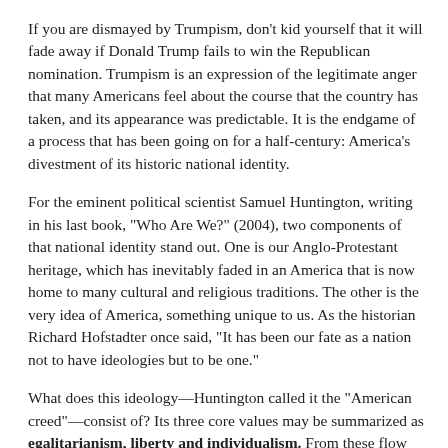If you are dismayed by Trumpism, don’t kid yourself that it will fade away if Donald Trump fails to win the Republican nomination. Trumpism is an expression of the legitimate anger that many Americans feel about the course that the country has taken, and its appearance was predictable. It is the endgame of a process that has been going on for a half-century: America’s divestment of its historic national identity.
For the eminent political scientist Samuel Huntington, writing in his last book, “Who Are We?” (2004), two components of that national identity stand out. One is our Anglo-Protestant heritage, which has inevitably faded in an America that is now home to many cultural and religious traditions. The other is the very idea of America, something unique to us. As the historian Richard Hofstadter once said, “It has been our fate as a nation not to have ideologies but to be one.”
What does this ideology—Huntington called it the “American creed”—consist of? Its three core values may be summarized as egalitarianism, liberty and individualism. From these flow other familiar aspects of the national creed